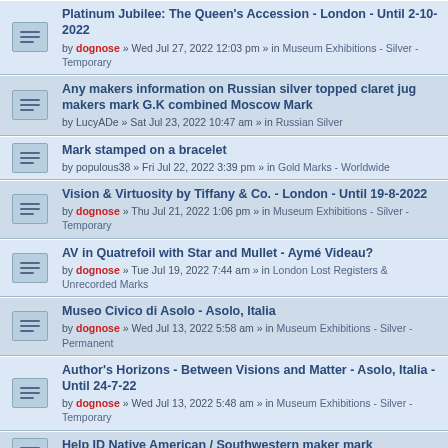Platinum Jubilee: The Queen's Accession - London - Until 2-10-2022 by dognose » Wed Jul 27, 2022 12:03 pm » in Museum Exhibitions - Silver - Temporary
Any makers information on Russian silver topped claret jug makers mark G.K combined Moscow Mark by LucyADe » Sat Jul 23, 2022 10:47 am » in Russian Silver
Mark stamped on a bracelet by populous38 » Fri Jul 22, 2022 3:39 pm » in Gold Marks - Worldwide
Vision & Virtuosity by Tiffany & Co. - London - Until 19-8-2022 by dognose » Thu Jul 21, 2022 1:06 pm » in Museum Exhibitions - Silver - Temporary
AV in Quatrefoil with Star and Mullet - Aymé Videau? by dognose » Tue Jul 19, 2022 7:44 am » in London Lost Registers & Unrecorded Marks
Museo Civico di Asolo - Asolo, Italia by dognose » Wed Jul 13, 2022 5:58 am » in Museum Exhibitions - Silver - Permanent
Author's Horizons - Between Visions and Matter - Asolo, Italia - Until 24-7-22 by dognose » Wed Jul 13, 2022 5:48 am » in Museum Exhibitions - Silver - Temporary
Help ID Native American / Southwestern maker mark by NancyCaroline » Fri Jul 08, 2022 11:26 am » in American Jewelry
Persian silver plate or silver marks? by sebastian4743 » Fri Jul 08, 2022 3:59 am » in Asia & Middle East - Single Image
Maker's stamp